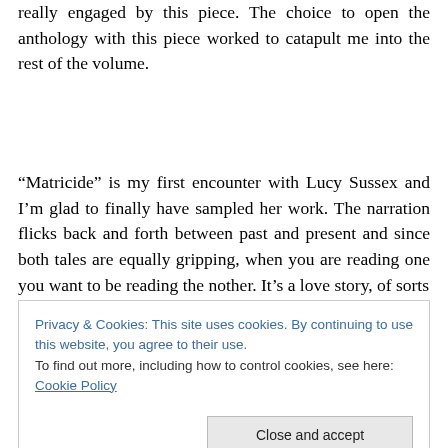really engaged by this piece. The choice to open the anthology with this piece worked to catapult me into the rest of the volume.
“Matricide” is my first encounter with Lucy Sussex and I’m glad to finally have sampled her work. The narration flicks back and forth between past and present and since both tales are equally gripping, when you are reading one you want to be reading the nother. It’s a love story, of sorts
Privacy & Cookies: This site uses cookies. By continuing to use this website, you agree to their use.
To find out more, including how to control cookies, see here: Cookie Policy
wonderfully together and kept me guessing as to where